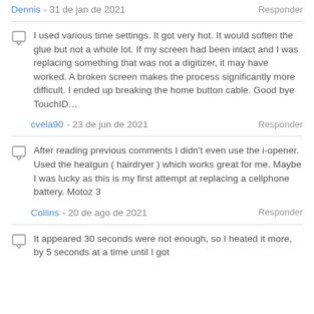Dennis - 31 de jan de 2021   Responder
I used various time settings. It got very hot. It would soften the glue but not a whole lot. If my screen had been intact and I was replacing something that was not a digitizer, it may have worked. A broken screen makes the process significantly more difficult. I ended up breaking the home button cable. Good bye TouchID…
cvela90 - 23 de jun de 2021   Responder
After reading previous comments I didn't even use the i-opener. Used the heatgun ( hairdryer ) which works great for me. Maybe I was lucky as this is my first attempt at replacing a cellphone battery. Motoz 3
Collins - 20 de ago de 2021   Responder
It appeared 30 seconds were not enough, so I heated it more, by 5 seconds at a time until I got